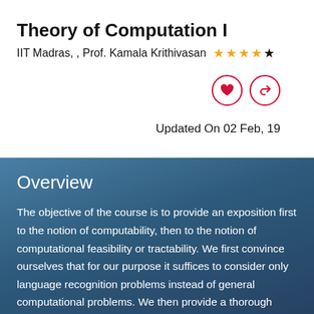Theory of Computation I
IIT Madras, , Prof. Kamala Krithivasan ★★★★★
Updated On 02 Feb, 19
Overview
The objective of the course is to provide an exposition first to the notion of computability, then to the notion of computational feasibility or tractability. We first convince ourselves that for our purpose it suffices to consider only language recognition problems instead of general computational problems. We then provide a thorough account of finite state automata and regular languages, not only because these capture the simplest language class of interest and are useful in many diverse domains. But also because they are found throughout...